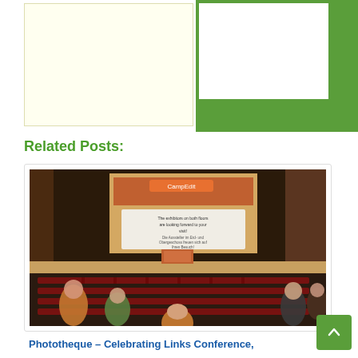[Figure (other): Yellow box on left and green bordered box on right, decorative layout elements at top of page]
Related Posts:
[Figure (photo): Conference room photo showing a large projection screen with a presentation slide, an auditorium with red seats, and people standing in the foreground]
Phototheque – Celebrating Links Conference,